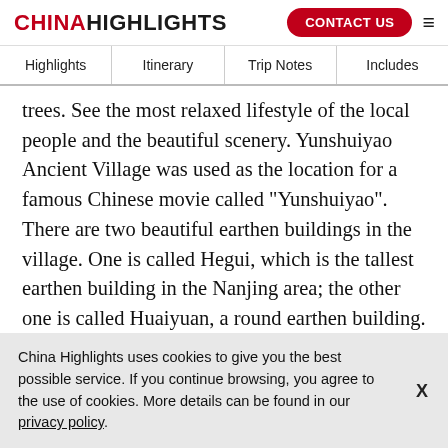CHINA HIGHLIGHTS | CONTACT US
Highlights | Itinerary | Trip Notes | Includes
trees. See the most relaxed lifestyle of the local people and the beautiful scenery. Yunshuiyao Ancient Village was used as the location for a famous Chinese movie called "Yunshuiyao". There are two beautiful earthen buildings in the village. One is called Hegui, which is the tallest earthen building in the Nanjing area; the other one is called Huaiyuan, a round earthen building.
China Highlights uses cookies to give you the best possible service. If you continue browsing, you agree to the use of cookies. More details can be found in our privacy policy.